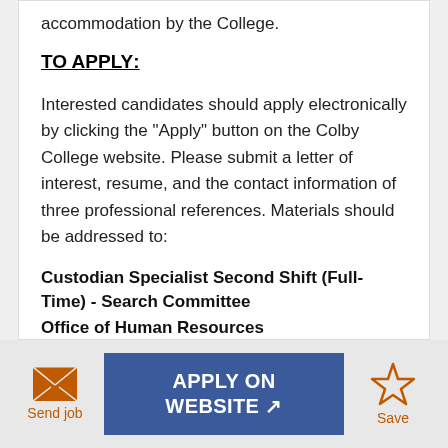accommodation by the College.
TO APPLY:
Interested candidates should apply electronically by clicking the "Apply" button on the Colby College website. Please submit a letter of interest, resume, and the contact information of three professional references. Materials should be addressed to:
Custodian Specialist Second Shift (Full-Time) - Search Committee
Office of Human Resources
Colby College
Send job   APPLY ON WEBSITE   Save